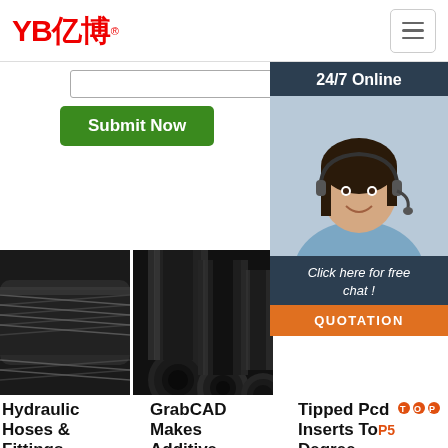[Figure (logo): YB亿博 logo in red text]
[Figure (screenshot): Search input box]
[Figure (screenshot): Green Submit Now button]
[Figure (photo): 24/7 Online customer service agent panel with chat option and QUOTATION button]
[Figure (photo): Hydraulic hose close-up photo]
[Figure (photo): Black industrial pipes/hoses bundled together]
Hydraulic Hoses & Fittings - RYCO
GrabCAD Makes Additive Manufacturing
Tipped Pcd Inserts Top 5 Degree Diamond